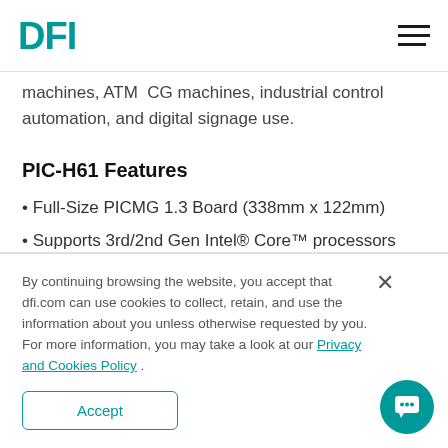DFI
machines, ATM CG machines, industrial control automation, and digital signage use.
PIC-H61 Features
Full-Size PICMG 1.3 Board (338mm x 122mm)
Supports 3rd/2nd Gen Intel® Core™ processors
Intel® H61 Express Chipset
By continuing browsing the website, you accept that dfi.com can use cookies to collect, retain, and use the information about you unless otherwise requested by you. For more information, you may take a look at our Privacy and Cookies Policy .
Accept